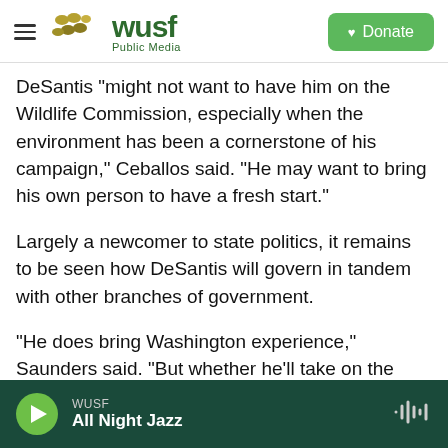WUSF Public Media | Donate
DeSantis “might not want to have him on the Wildlife Commission, especially when the environment has been a cornerstone of his campaign,” Ceballos said. “He may want to bring his own person to have a fresh start.”
Largely a newcomer to state politics, it remains to be seen how DeSantis will govern in tandem with other branches of government.
“He does bring Washington experience,” Saunders said. “But whether he’ll take on the swamp in Tallahassee – it’s hard to tell.”
WUSF | All Night Jazz